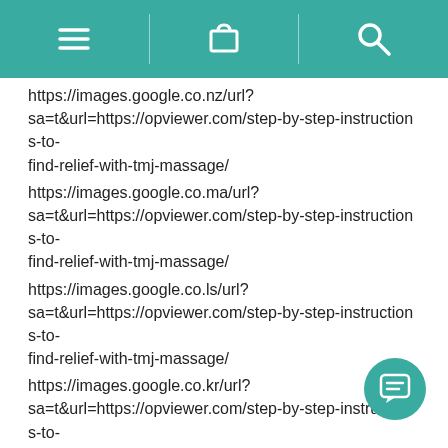[navigation bar with menu, cart, and search icons]
https://images.google.co.nz/url?sa=t&url=https://opviewer.com/step-by-step-instructions-to-find-relief-with-tmj-massage/
https://images.google.co.ma/url?sa=t&url=https://opviewer.com/step-by-step-instructions-to-find-relief-with-tmj-massage/
https://images.google.co.ls/url?sa=t&url=https://opviewer.com/step-by-step-instructions-to-find-relief-with-tmj-massage/
https://images.google.co.kr/url?sa=t&url=https://opviewer.com/step-by-step-instructions-to-find-relief-with-tmj-massage/
https://images.google.co.kr/url?q=https://opviewer.com/step-by-step-instructions-to-find-relief-with-tmj-massage
https://images.google.co.ke/url?sa=t&url=https://opviewer.com/step-by-step-instructions-to-